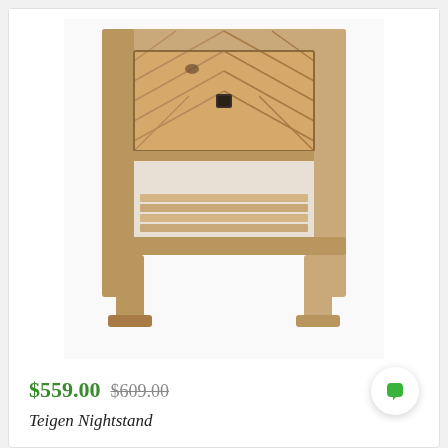[Figure (photo): A rustic wooden nightstand with a herringbone-patterned drawer front featuring a dark square metal knob, an open lower shelf, and chunky legs. The wood has a natural, weathered light brown finish.]
$559.00  $609.00
Teigen Nightstand